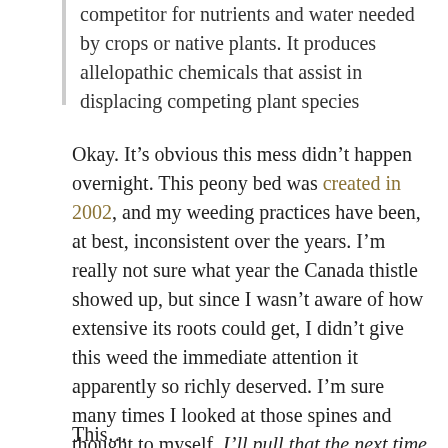competitor for nutrients and water needed by crops or native plants. It produces allelopathic chemicals that assist in displacing competing plant species
Okay. It’s obvious this mess didn’t happen overnight. This peony bed was created in 2002, and my weeding practices have been, at best, inconsistent over the years. I’m really not sure what year the Canada thistle showed up, but since I wasn’t aware of how extensive its roots could get, I didn’t give this weed the immediate attention it apparently so richly deserved. I’m sure many times I looked at those spines and thought to myself, I’ll pull that the next time I have gloves handy. And even if I had gone to get gloves, the odds that I would have been distracted from my task by some other domestic duty or child-induced problem would have been pretty high. I’m not saying I never pulled the Canada thistles, I’m just saying I never pulled them frequently enough.
This...